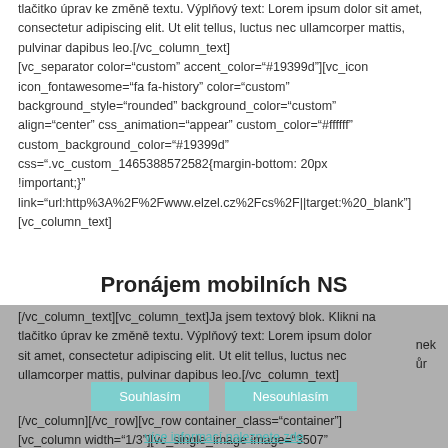tlačitko úprav ke změně textu. Výplňový text: Lorem ipsum dolor sit amet, consectetur adipiscing elit. Ut elit tellus, luctus nec ullamcorper mattis, pulvinar dapibus leo.[/vc_column_text] [vc_separator color="custom" accent_color="#19399d"][vc_icon icon_fontawesome="fa fa-history" color="custom" background_style="rounded" background_color="custom" align="center" css_animation="appear" custom_color="#ffffff" custom_background_color="#19399d" css=".vc_custom_1465388572582{margin-bottom: 20px !important;}" link="url:http%3A%2F%2Fwww.elzel.cz%2Fcs%2F||target:%20_blank"] [vc_column_text]
Pronájem mobilních NS
[/vc_column_text][vc_column_text]Ja jsem textový blok. Klikni na tlačitko úprav ke změně textu. Výplňový text: Lorem ipsum dolor sit amet, consectetur adipiscing elit. Ut elit tellus, luctus nec ullamcorper mattis, pulvinar dapibus leo.[/vc_column_text] [/vc_column][/vc_row][vc_row container_class="container"] [vc_column width="1/3"][vc_single_image image="3507" img_size="full" css_animation="appear"][/vc_column][vc_column